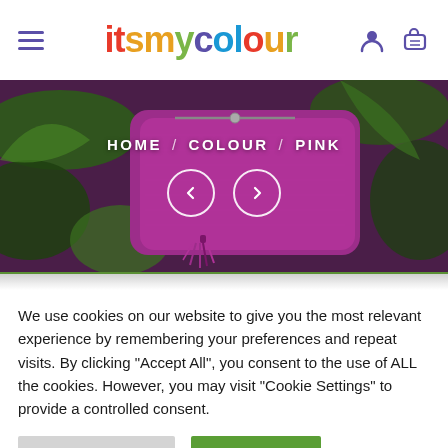itsmycolour — navigation header with hamburger menu, logo, user and cart icons
[Figure (photo): Hero banner image of a pink/purple leather handbag with tassel against green foliage background, with breadcrumb navigation HOME / COLOUR / PINK and left/right arrow navigation buttons]
We use cookies on our website to give you the most relevant experience by remembering your preferences and repeat visits. By clicking "Accept All", you consent to the use of ALL the cookies. However, you may visit "Cookie Settings" to provide a controlled consent.
Cookie Settings | Accept All